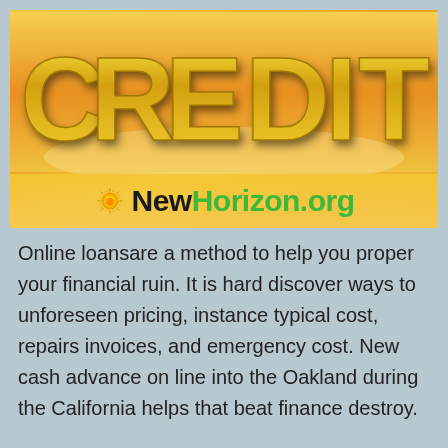[Figure (illustration): 3D golden block letters spelling CREDIT on an orange/gold reflective surface, with a NewHorizon.org logo featuring a sun icon below the letters. 'New' is in black bold and 'Horizon.org' is in green bold.]
Online loansare a method to help you proper your financial ruin. It is hard discover ways to unforeseen pricing, instance typical cost, repairs invoices, and emergency cost. New cash advance on line into the Oakland during the California helps that beat finance destroy.